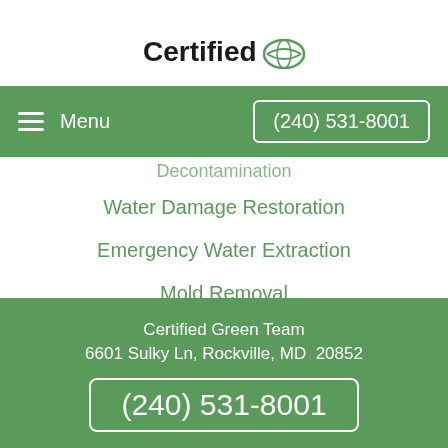[Figure (logo): Certified Green Team logo with bold 'Certified' text in black and a green leaf/planet icon]
Menu  (240) 531-8001
Decontamination
Water Damage Restoration
Emergency Water Extraction
Mold Removal
Certified Green Team
6601 Sulky Ln, Rockville, MD  20852
(240) 531-8001